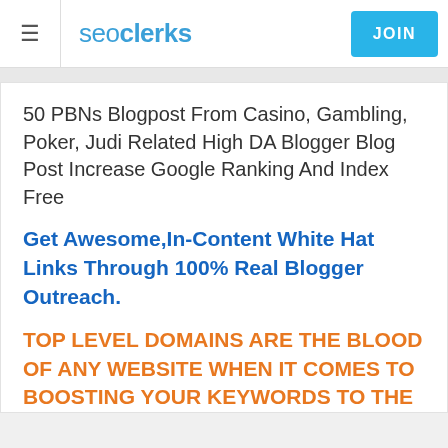seoclerks JOIN
50 PBNs Blogpost From Casino, Gambling, Poker, Judi Related High DA Blogger Blog Post Increase Google Ranking And Index Free
Get Awesome,In-Content White Hat Links Through 100% Real Blogger Outreach.
TOP LEVEL DOMAINS ARE THE BLOOD OF ANY WEBSITE WHEN IT COMES TO BOOSTING YOUR KEYWORDS TO THE